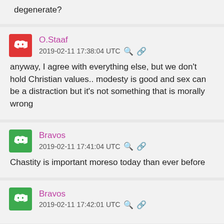degenerate?
O.Staaf
2019-02-11 17:38:04 UTC
anyway, I agree with everything else, but we don't hold Christian values.. modesty is good and sex can be a distraction but it's not something that is morally wrong
Bravos
2019-02-11 17:41:04 UTC
Chastity is important moreso today than ever before
Bravos
2019-02-11 17:42:01 UTC